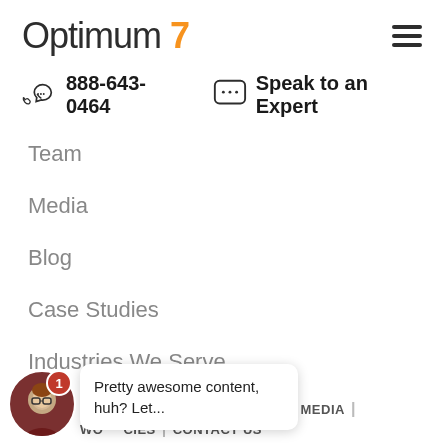Optimum 7
888-643-0464   Speak to an Expert
Team
Media
Blog
Case Studies
Industries We Serve
OUR SERVICES | PARTNERS | MEDIA | CONTACT US
Pretty awesome content, huh? Let...